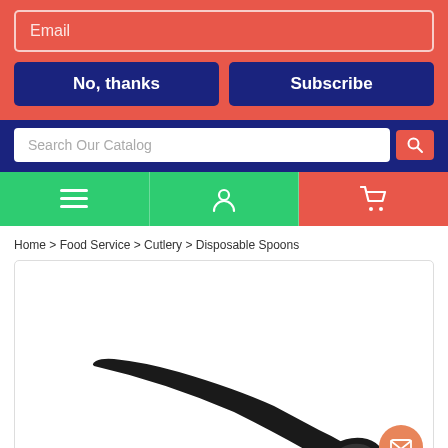[Figure (screenshot): Email subscription popup with coral/red background, email input field, No thanks and Subscribe buttons]
Search Our Catalog
[Figure (screenshot): Navigation icon bar with hamburger menu, user account, and shopping cart icons on green/coral background]
Home > Food Service > Cutlery > Disposable Spoons
[Figure (photo): Black disposable plastic spoon on white background inside a bordered product image box]